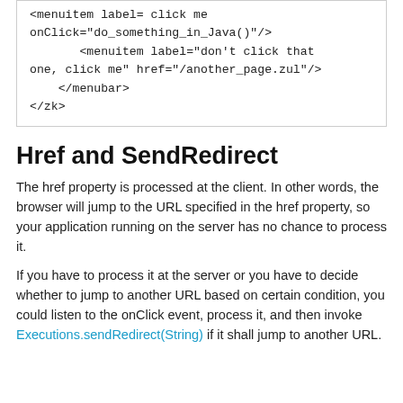[Figure (screenshot): Code block showing XML ZK menuitem and menubar tags with attributes label, onClick, and href]
Href and SendRedirect
The href property is processed at the client. In other words, the browser will jump to the URL specified in the href property, so your application running on the server has no chance to process it.
If you have to process it at the server or you have to decide whether to jump to another URL based on certain condition, you could listen to the onClick event, process it, and then invoke Executions.sendRedirect(String) if it shall jump to another URL.